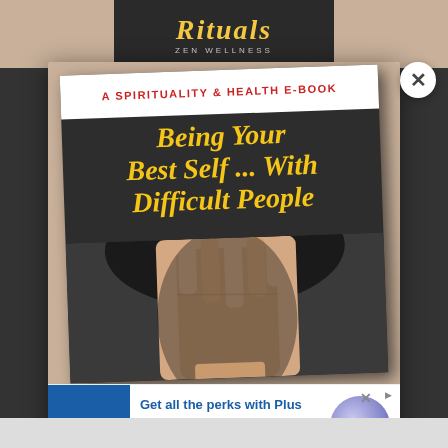[Figure (screenshot): Screenshot of a webpage showing a modal popup with an e-book cover 'Being Your Best Self... With Difficult People - A Spirituality & Health E-Book', overlaid on a page about 'Rituals' (Zen Wellness). Below the modal is a Sam's Club advertisement banner reading 'Get all the perks with Plus'.]
Being Your Best Self ... With Difficult People
A SPIRITUALITY & HEALTH E-BOOK
Get all the perks with Plus
2% Sam's Cash™. On qualifying purchases, up to $500/year.
www.samsclub.com